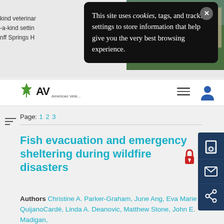[Figure (screenshot): Website screenshot showing a cookie consent popup overlay on a veterinary/academic website. The popup is a dark rounded rectangle with white text about cookies, tags, and tracking settings. Behind it is a navigation bar with AVA logo, a hotel/resort image top right, and an article about fish evacuation and emergency sheltering during wildfire disasters.]
This site uses cookies, tags, and tracking settings to store information that help give you the very best browsing experience.
kind veterinary
-a-kind setting
nff Springs H
Page: 1  2  3
Fish evacuation and emergency sheltering during wildfire disasters
Authors Christine A. Parker-Graham, June Ang, Eva Marie QuijanoCardé, Linda A. Deanovic, Matthew Stone, John E. Madigan,